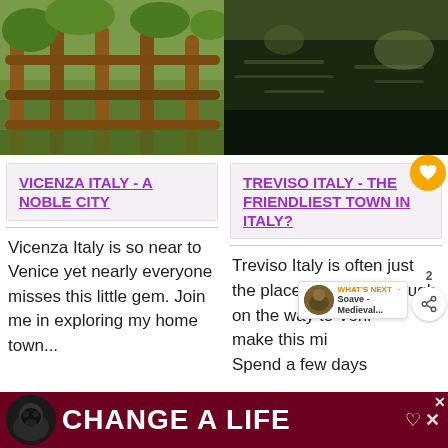[Figure (photo): Photo of wooden fence/railing with green vegetation and water in background]
[Figure (photo): Photo of dark water/river surface with greenish tones]
VICENZA ITALY - A NOBLE CITY
TREVISO ITALY - THE FRIENDLIEST TOWN IN ITALY?
Vicenza Italy is so near to Venice yet nearly everyone misses this little gem. Join me in exploring my home town...
Treviso Italy is often just the place you pass through on the way to Veni... make this mistake. Spend a few days
[Figure (infographic): What's Next box showing Soave - Medieval...]
CHANGE A LIFE